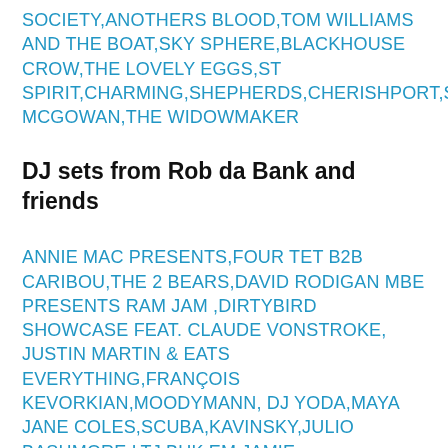SOCIETY,ANOTHERS BLOOD,TOM WILLIAMS AND THE BOAT,SKY SPHERE,BLACKHOUSE CROW,THE LOVELY EGGS,ST SPIRIT,CHARMING,SHEPHERDS,CHERISHPORT,SEÁN MCGOWAN,THE WIDOWMAKER
DJ sets from Rob da Bank and friends
ANNIE MAC PRESENTS,FOUR TET B2B CARIBOU,THE 2 BEARS,DAVID RODIGAN MBE PRESENTS RAM JAM,DIRTYBIRD SHOWCASE FEAT. CLAUDE VONSTROKE,JUSTIN MARTIN & EATS EVERYTHING,FRANÇOIS KEVORKIAN,MOODYMANN,DJ YODA,MAYA JANE COLES,SCUBA,KAVINSKY,JULIO BASHMORE,LTJ BUKEM,JAMIE XX,PLASTICIAN,GREG WILSON,DOCTOR P,PEARSON SOUND,BORGORE,FLUX PAVILION,MAX